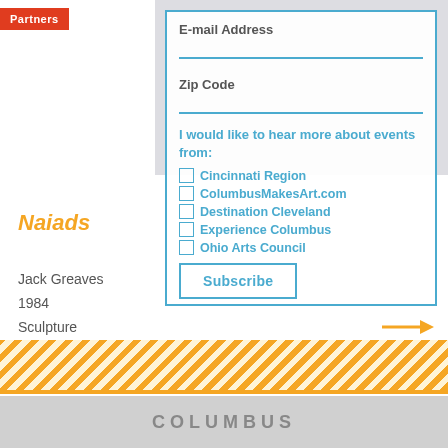Partners
[Figure (photo): Blurred background photo of people at an event]
E-mail Address
Zip Code
I would like to hear more about events from:
Cincinnati Region
ColumbusMakesArt.com
Destination Cleveland
Experience Columbus
Ohio Arts Council
Subscribe
Naiads
Jack Greaves
1984
Sculpture
COLUMBUS